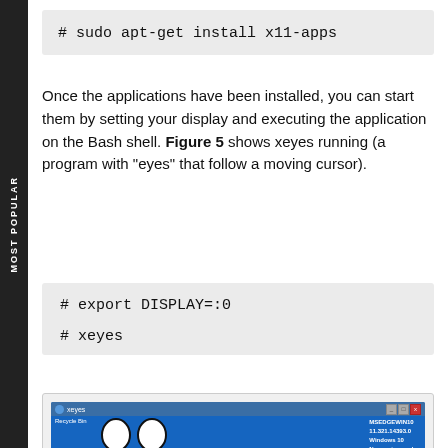# sudo apt-get install x11-apps
Once the applications have been installed, you can start them by setting your display and executing the application on the Bash shell. Figure 5 shows xeyes running (a program with "eyes" that follow a moving cursor).
# export DISPLAY=:0

# xeyes
[Figure (screenshot): Screenshot of xeyes application running on Windows 10 desktop showing two large cartoon eyes on a blue background, with a window titled 'xeyes' and system information showing MSEDGEWIN10 11.321.14393.0 Windows 10 No service pack IEUser PasswOrdl.]